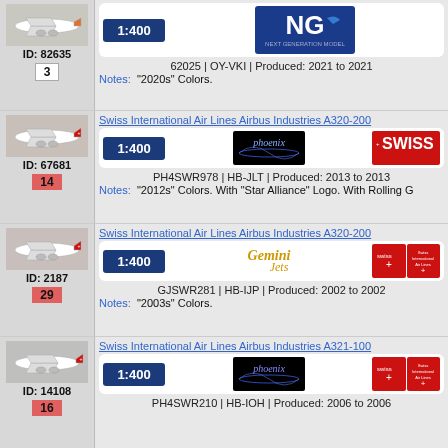[Figure (photo): Model airplane photo, white livery with orange tail]
ID: 82635
3
1:400
[Figure (logo): NG Models logo (Next Generation Model)]
62025 | OY-VKI | Produced: 2021 to 2021
Notes: "2020s" Colors.
Swiss International Air Lines Airbus Industries A320-200
[Figure (photo): Model airplane photo, Swiss livery white with red tail]
ID: 67681
14
1:400
[Figure (logo): Phoenix Models logo]
[Figure (logo): SWISS airline logo]
PH4SWR978 | HB-JLT | Produced: 2013 to 2013
Notes: "2012s" Colors. With "Star Alliance" Logo. With Rolling G
Swiss International Air Lines Airbus Industries A320-200
[Figure (photo): Model airplane photo, Swiss livery]
ID: 2187
29
1:400
[Figure (logo): Gemini Jets logo]
[Figure (logo): Swiss International Air Lines logo]
GJSWR281 | HB-IJP | Produced: 2002 to 2002
Notes: "2003s" Colors.
Swiss International Air Lines Airbus Industries A321-100
[Figure (photo): Model airplane photo, Swiss livery]
ID: 14108
16
1:400
[Figure (logo): Phoenix Models logo]
[Figure (logo): Swiss International Air Lines logo]
PH4SWR210 | HB-IOH | Produced: 2006 to 2006